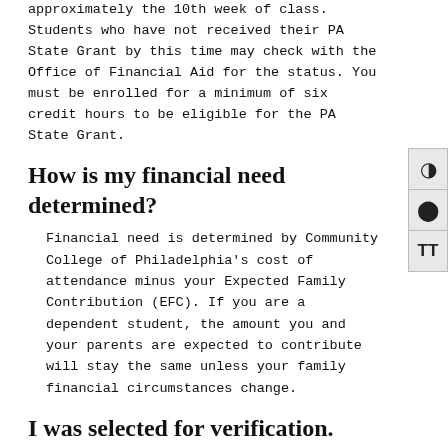approximately the 10th week of class. Students who have not received their PA State Grant by this time may check with the Office of Financial Aid for the status. You must be enrolled for a minimum of six credit hours to be eligible for the PA State Grant.
How is my financial need determined?
Financial need is determined by Community College of Philadelphia's cost of attendance minus your Expected Family Contribution (EFC). If you are a dependent student, the amount you and your parents are expected to contribute will stay the same unless your family financial circumstances change.
I was selected for verification. What does that mean?
Verification is a process that the U.S. Department of